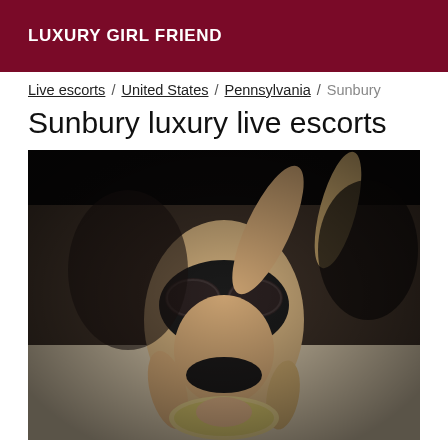LUXURY GIRL FRIEND
Live escorts / United States / Pennsylvania / Sunbury
Sunbury luxury live escorts
[Figure (photo): A woman in black lingerie lying on a light-colored surface, photographed from above at an angle, dark background.]